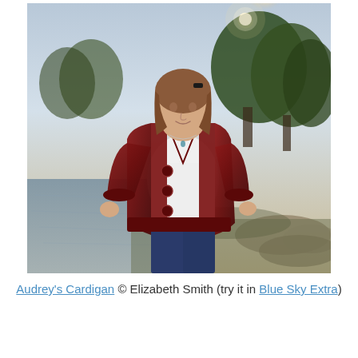[Figure (photo): A young woman with shoulder-length brown hair wearing a deep red/burgundy knitted cardigan over a white top, with blue jeans. She is standing outdoors near a lake or waterway, with trees and a sunset/dusk sky in the background.]
Audrey's Cardigan © Elizabeth Smith (try it in Blue Sky Extra)